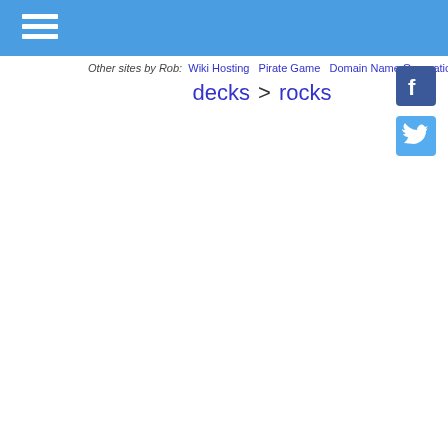Navigation header bar with hamburger menu
Other sites by Rob: Wiki Hosting   Pirate Game   Domain Name Generation
decks > rocks
[Figure (logo): Facebook button icon (blue square with white F)]
[Figure (logo): Twitter button icon (light blue square with white bird)]